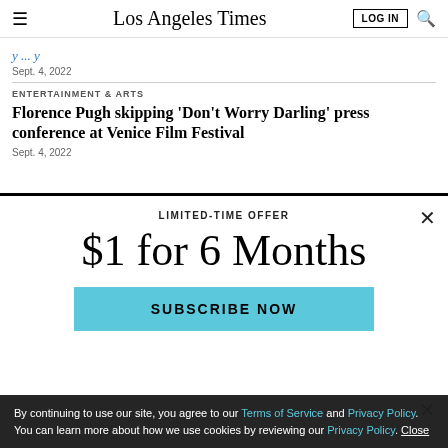Los Angeles Times
Sept. 4, 2022
ENTERTAINMENT & ARTS
Florence Pugh skipping 'Don't Worry Darling' press conference at Venice Film Festival
Sept. 4, 2022
LIMITED-TIME OFFER
$1 for 6 Months
SUBSCRIBE NOW
By continuing to use our site, you agree to our Terms of Service and Privacy Policy. You can learn more about how we use cookies by reviewing our Privacy Policy. Close